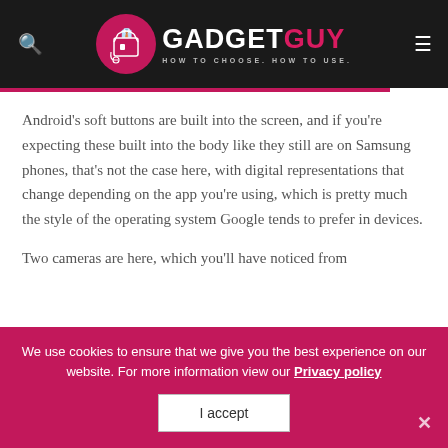GADGET GUY — HOW TO CHOOSE. HOW TO USE.
Android's soft buttons are built into the screen, and if you're expecting these built into the body like they still are on Samsung phones, that's not the case here, with digital representations that change depending on the app you're using, which is pretty much the style of the operating system Google tends to prefer in devices.
Two cameras are here, which you'll have noticed from
We use cookies to ensure that we give you the best experience on our website. For more information view our Privacy policy
I accept